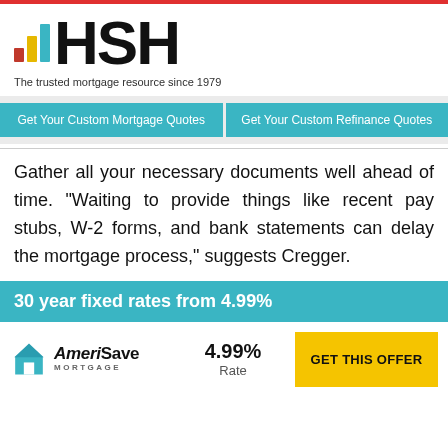[Figure (logo): HSH logo with bar chart icon and tagline 'The trusted mortgage resource since 1979']
Get Your Custom Mortgage Quotes
Get Your Custom Refinance Quotes
Gather all your necessary documents well ahead of time. "Waiting to provide things like recent pay stubs, W-2 forms, and bank statements can delay the mortgage process," suggests Cregger.
30 year fixed rates from 4.99%
[Figure (logo): AmeriSave Mortgage logo with teal house icon]
4.99%
Rate
GET THIS OFFER